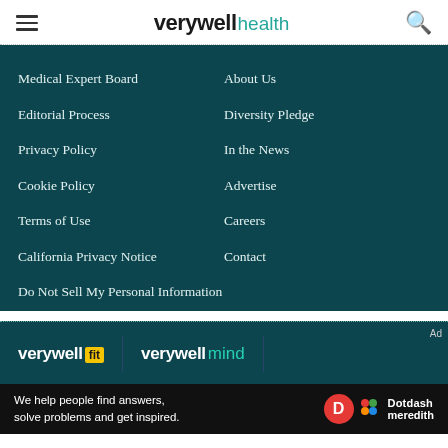verywell health
Medical Expert Board
About Us
Editorial Process
Diversity Pledge
Privacy Policy
In the News
Cookie Policy
Advertise
Terms of Use
Careers
California Privacy Notice
Contact
Do Not Sell My Personal Information
verywell fit | verywell mind
We help people find answers, solve problems and get inspired.  Dotdash meredith